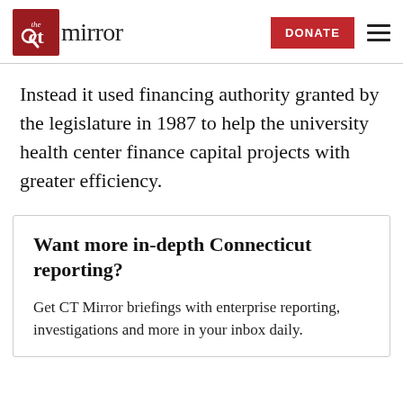the CT Mirror | DONATE
Instead it used financing authority granted by the legislature in 1987 to help the university health center finance capital projects with greater efficiency.
Want more in-depth Connecticut reporting?
Get CT Mirror briefings with enterprise reporting, investigations and more in your inbox daily.